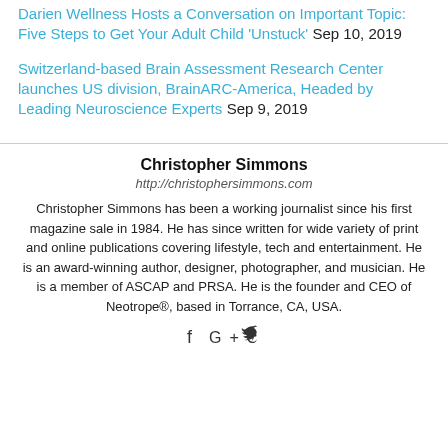Darien Wellness Hosts a Conversation on Important Topic: Five Steps to Get Your Adult Child 'Unstuck' Sep 10, 2019
Switzerland-based Brain Assessment Research Center launches US division, BrainARC-America, Headed by Leading Neuroscience Experts Sep 9, 2019
Christopher Simmons
http://christophersimmons.com
Christopher Simmons has been a working journalist since his first magazine sale in 1984. He has since written for wide variety of print and online publications covering lifestyle, tech and entertainment. He is an award-winning author, designer, photographer, and musician. He is a member of ASCAP and PRSA. He is the founder and CEO of Neotrope®, based in Torrance, CA, USA.
f G+ ✓